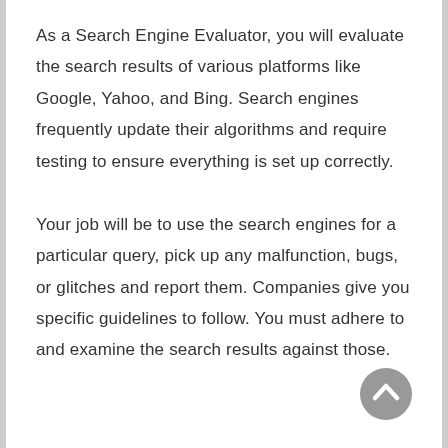As a Search Engine Evaluator, you will evaluate the search results of various platforms like Google, Yahoo, and Bing. Search engines frequently update their algorithms and require testing to ensure everything is set up correctly.

Your job will be to use the search engines for a particular query, pick up any malfunction, bugs, or glitches and report them. Companies give you specific guidelines to follow. You must adhere to and examine the search results against those.